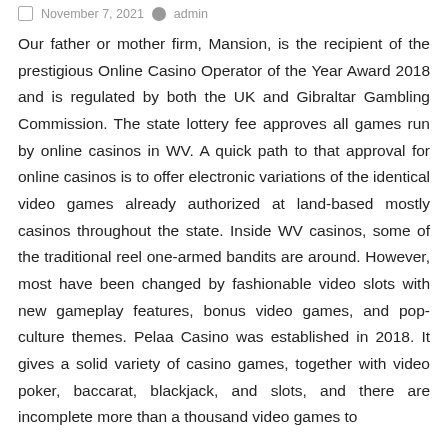November 7, 2021  admin
Our father or mother firm, Mansion, is the recipient of the prestigious Online Casino Operator of the Year Award 2018 and is regulated by both the UK and Gibraltar Gambling Commission. The state lottery fee approves all games run by online casinos in WV. A quick path to that approval for online casinos is to offer electronic variations of the identical video games already authorized at land-based mostly casinos throughout the state. Inside WV casinos, some of the traditional reel one-armed bandits are around. However, most have been changed by fashionable video slots with new gameplay features, bonus video games, and pop-culture themes. Pelaa Casino was established in 2018. It gives a solid variety of casino games, together with video poker, baccarat, blackjack, and slots, and there are incomplete more than a thousand video games to